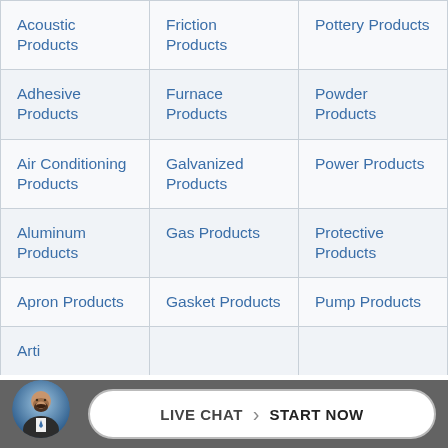| Acoustic Products | Friction Products | Pottery Products |
| Adhesive Products | Furnace Products | Powder Products |
| Air Conditioning Products | Galvanized Products | Power Products |
| Aluminum Products | Gas Products | Protective Products |
| Apron Products | Gasket Products | Pump Products |
| Arti... |  |  |
[Figure (other): Live chat widget footer bar with agent avatar and 'LIVE CHAT > START NOW' button]